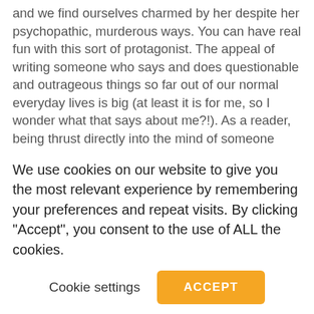and we find ourselves charmed by her despite her psychopathic, murderous ways. You can have real fun with this sort of protagonist. The appeal of writing someone who says and does questionable and outrageous things so far out of our normal everyday lives is big (at least it is for me, so I wonder what that says about me?!). As a reader, being thrust directly into the mind of someone villainous can be exciting. Not to mention it makes the baddie hard to forget.

Also, the antagonist of the story can also be inside of the protagonist – such as the old guy
We use cookies on our website to give you the most relevant experience by remembering your preferences and repeat visits. By clicking "Accept", you consent to the use of ALL the cookies.
Cookie settings
ACCEPT